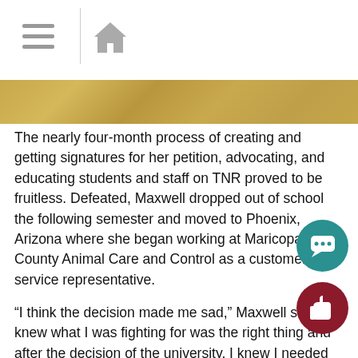Navigation header with menu and home icons
[Figure (illustration): Gold/tan textured banner image]
The nearly four-month process of creating and getting signatures for her petition, advocating, and educating students and staff on TNR proved to be fruitless. Defeated, Maxwell dropped out of school the following semester and moved to Phoenix, Arizona where she began working at Maricopa County Animal Care and Control as a customer service representative.
“I think the decision made me sad,” Maxwell said. “I knew what I was fighting for was the right thing and after the decision of the university, I knew I needed to go someplace who would allow me to do the right thing. I wanted that to be Evansville, but it wasn’t. I knew what I  had to offer would be better suited somewhere else.”
Despite Maxwell’s plan and procedure, the university turned d the program because it feared cost, sustainability, increasing cat population and harming the bird population.
“They were legitimate concerns to have,” Maxwell said. “I jus wanted to find the best way to help. It’s unethical to leave cats